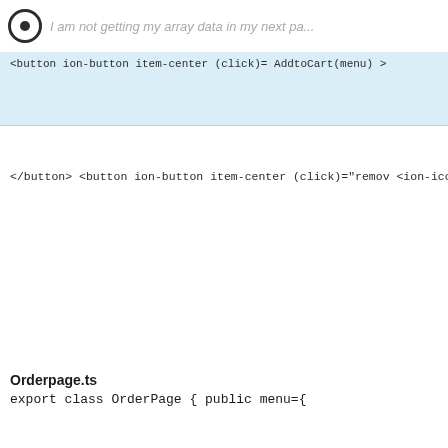I am not getting my array data in my next pa...
[Figure (screenshot): Code snippet showing HTML template with ion-button and ion-icon tags in a highlighted blue code block, followed by more HTML tags, and then a TypeScript section labeled Orderpage.ts with export class OrderPage and public menu=.]